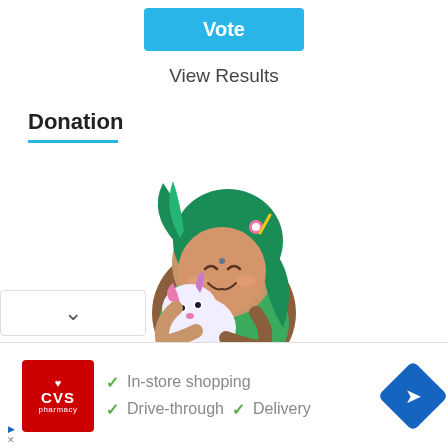Vote
View Results
Donation
[Figure (illustration): Chibi-style cartoon character with green hair hugging a small white creature, game art style]
[Figure (infographic): CVS Pharmacy advertisement banner showing In-store shopping, Drive-through, and Delivery options with checkmarks]